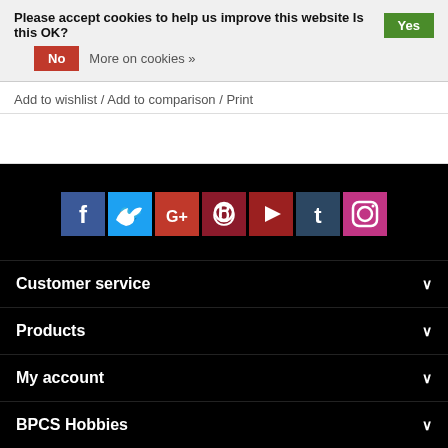Please accept cookies to help us improve this website Is this OK? Yes
No   More on cookies »
Add to wishlist / Add to comparison / Print
[Figure (infographic): Social media icons row: Facebook, Twitter, Google+, Pinterest, YouTube, Tumblr, Instagram on black background]
Customer service ❯
Products ❯
My account ❯
BPCS Hobbies ❯